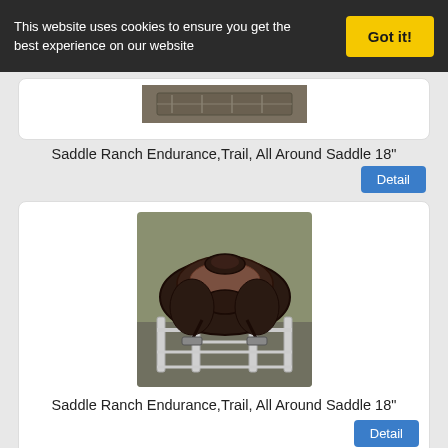This website uses cookies to ensure you get the best experience on our website
Got it!
[Figure (photo): Saddle on a rack, partial view at top of card]
Saddle Ranch Endurance,Trail, All Around Saddle 18"
Detail
[Figure (photo): Dark leather English/dressage saddle on a white metal saddle rack, outdoors on pavement with green grass background]
Saddle Ranch Endurance,Trail, All Around Saddle 18"
Detail
[Figure (photo): Partial view of a saddle with $450 price tag in red]
$450